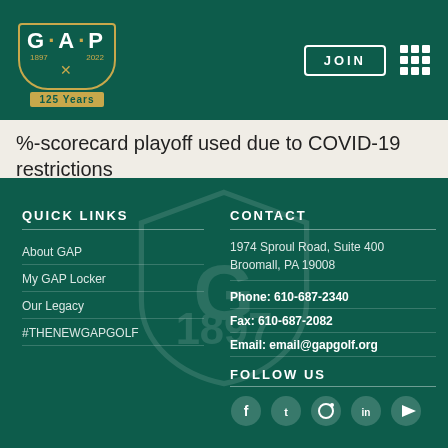GAP 125 Years — JOIN
%-scorecard playoff used due to COVID-19 restrictions
QUICK LINKS
About GAP
My GAP Locker
Our Legacy
#THENEWGAPGOLF
CONTACT
1974 Sproul Road, Suite 400
Broomall, PA 19008
Phone: 610-687-2340
Fax: 610-687-2082
Email: email@gapgolf.org
FOLLOW US